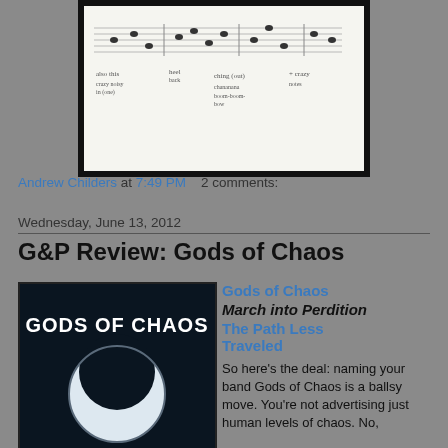[Figure (photo): Sheet music / handwritten musical notation on white paper, framed with thick black border]
Andrew Childers at 7:49 PM    2 comments:
Wednesday, June 13, 2012
G&P Review: Gods of Chaos
[Figure (photo): Album cover for Gods of Chaos - black background with stylized band logo and a white crescent moon symbol]
Gods of Chaos
March into Perdition
The Path Less Traveled
So here's the deal: naming your band Gods of Chaos is a ballsy move. You're not advertising just human levels of chaos. No,